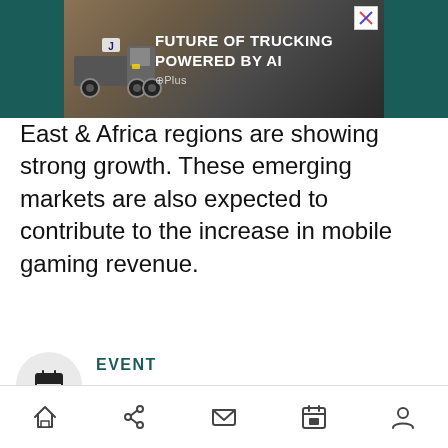[Figure (screenshot): Advertisement banner at top of page showing a truck in a desert landscape with text 'FUTURE OF TRUCKING POWERED BY AI' and Plus logo, with X close button]
East & Africa regions are showing strong growth. These emerging markets are also expected to contribute to the increase in mobile gaming revenue.
EVENT
GamesBeat Summit Next 2022
Join gaming leaders live this October 25-26 in San Francisco to examine the next big opportunities within the gaming industry.
Navigation bar with home, share, email, calendar, and user icons